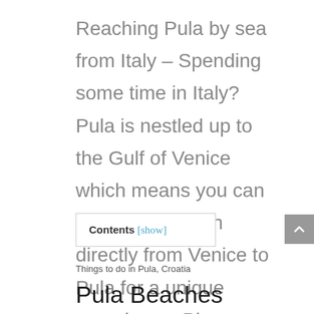Reaching Pula by sea from Italy – Spending some time in Italy? Pula is nestled up to the Gulf of Venice which means you can ride a catamaran directly from Venice to Pula for a unique experience. Please note, just journey can only be done in summer.
Contents [show]
Things to do in Pula, Croatia
Pula Beaches